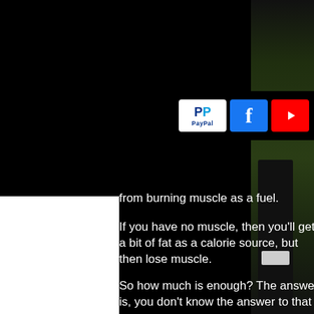muscle, s you
from burning muscle as a fuel.
If you have no muscle, then you'll get a bit of fat as a calorie source, but then lose muscle.
So how much is enough? The answer is, you don't know the answer to that one…
For people with a smaller frame and small muscles, it's pretty good for them to take 3 grams of prohormones each week without taking supplement in the morning.
If you are taking in more than 3 grams of prohormones, then it'll be a whole body